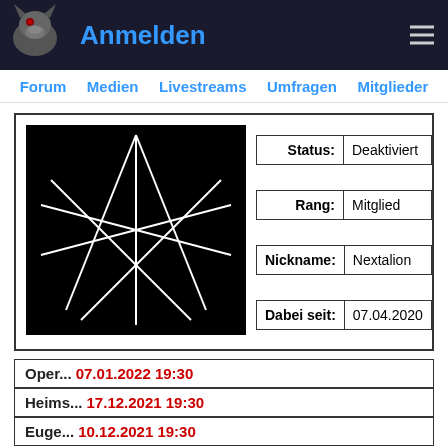Anmelden
Forum Medien Livestreams Umfragen Mitglieder
| Status: | Deaktiviert |
| Rang: | Mitglied |
| Nickname: | Nextalion |
| Dabei seit: | 07.04.2020 |
Oper... 07.01.2022 19:30
Heims... 17.12.2021 19:30
Euge... 10.12.2021 19:30